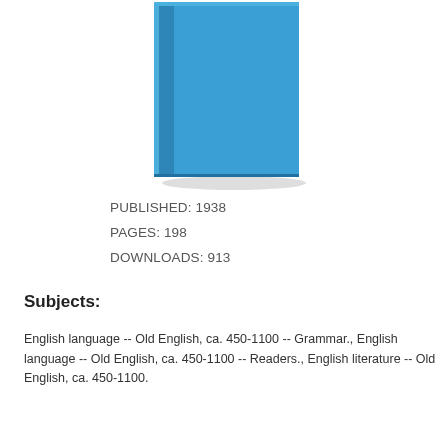[Figure (illustration): Blue hardcover book standing upright, showing front cover and spine with a slightly lighter blue spine on the left side and shadow at the bottom.]
PUBLISHED: 1938
PAGES: 198
DOWNLOADS: 913
Subjects:
English language -- Old English, ca. 450-1100 -- Grammar., English language -- Old English, ca. 450-1100 -- Readers., English literature -- Old English, ca. 450-1100.